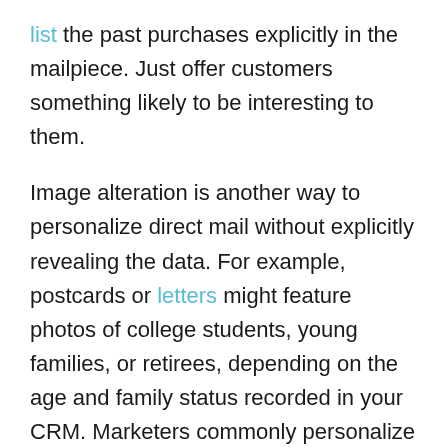list the past purchases explicitly in the mailpiece. Just offer customers something likely to be interesting to them.
Image alteration is another way to personalize direct mail without explicitly revealing the data. For example, postcards or letters might feature photos of college students, young families, or retirees, depending on the age and family status recorded in your CRM. Marketers commonly personalize mailpieces by dynamically featuring images based on race, sex, or geographic location.
Here's an article that talks about variable data and explains how Postalytics does it for direct mail.